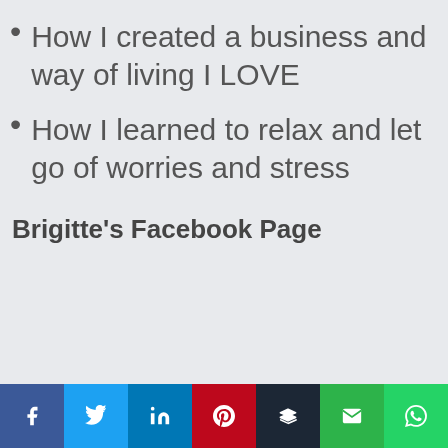How I created a business and way of living I LOVE
How I learned to relax and let go of worries and stress
Brigitte's Facebook Page
Social share bar: Facebook, Twitter, LinkedIn, Pinterest, Buffer, Email, WhatsApp